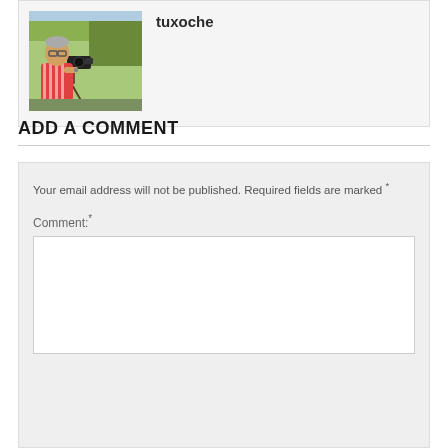[Figure (photo): Author avatar: man with camera on tripod, wearing striped shirt, outdoors]
tuxoche
ADD A COMMENT
Your email address will not be published. Required fields are marked *
Comment: *
[Figure (screenshot): Empty comment text area input field]